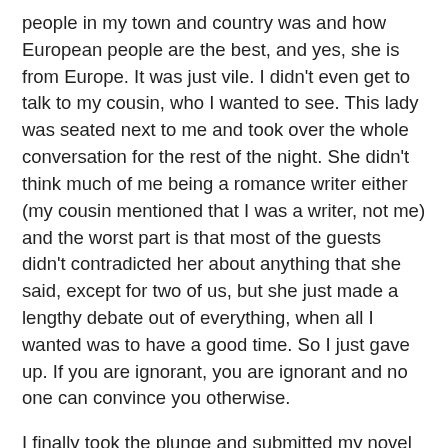people in my town and country was and how European people are the best, and yes, she is from Europe. It was just vile. I didn't even get to talk to my cousin, who I wanted to see. This lady was seated next to me and took over the whole conversation for the rest of the night. She didn't think much of me being a romance writer either (my cousin mentioned that I was a writer, not me) and the worst part is that most of the guests didn't contradicted her about anything that she said, except for two of us, but she just made a lengthy debate out of everything, when all I wanted was to have a good time. So I just gave up. If you are ignorant, you are ignorant and no one can convince you otherwise.
I finally took the plunge and submitted my novel to Avon Romance and Kensington Publishing Corp. I just felt that it was time that I took a chance. I have 20 different versions of The Amaranthine and I have even changed the name of the novel a few times too. I feel that I have tried to make this book perfect for so long, but I have done everything I could for it. It is time for it to go out into the world and be seen. If I get rejected and it never gets published, I will be sad, but at